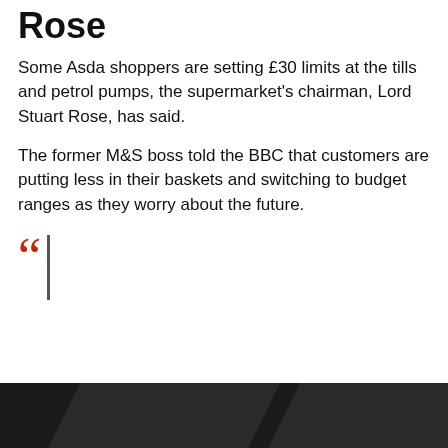Rose
Some Asda shoppers are setting £30 limits at the tills and petrol pumps, the supermarket's chairman, Lord Stuart Rose, has said.
The former M&S boss told the BBC that customers are putting less in their baskets and switching to budget ranges as they worry about the future.
[Figure (photo): Blockquote section with large red quotation marks and a vertical border line, partially overlaid by a dark background with a cookie consent notice and an ACCEPT button.]
This website uses cookies. By continuing to use this site, you accept our use of cookies.